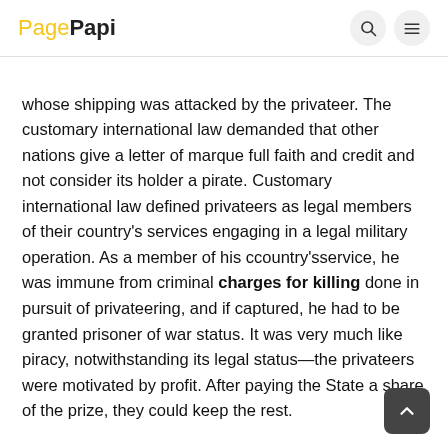PagePapi
whose shipping was attacked by the privateer. The customary international law demanded that other nations give a letter of marque full faith and credit and not consider its holder a pirate. Customary international law defined privateers as legal members of their country's services engaging in a legal military operation. As a member of his ccountry'sservice, he was immune from criminal charges for killing done in pursuit of privateering, and if captured, he had to be granted prisoner of war status. It was very much like piracy, notwithstanding its legal status—the privateers were motivated by profit. After paying the State a share of the prize, they could keep the rest.